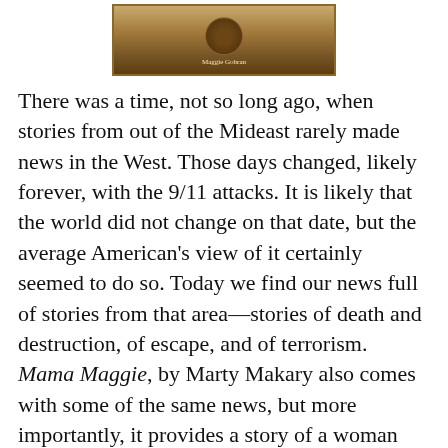[Figure (illustration): Book cover image showing a sepia-toned historical photograph with a circular medallion/seal in the center bearing the name 'Maggie Gobran']
There was a time, not so long ago, when stories from out of the Mideast rarely made news in the West. Those days changed, likely forever, with the 9/11 attacks. It is likely that the world did not change on that date, but the average American's view of it certainly seemed to do so. Today we find our news full of stories from that area—stories of death and destruction, of escape, and of terrorism. Mama Maggie, by Marty Makary also comes with some of the same news, but more importantly, it provides a story of a woman sacrificing for others, even in the face of all of those tragedies.
Mama Maggie, born Maggie Gobran, is an Egyptian Coptic Christian. Having grown up in a well-to-do family, she nonetheless found her home and calling with the poor who live outside greater Cairo, in the waste from the city. Fifty thousand such residents pick up and sort